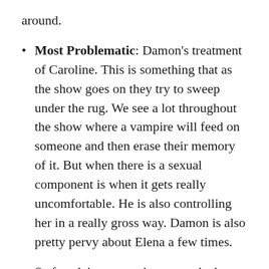around.
Most Problematic: Damon's treatment of Caroline. This is something that as the show goes on they try to sweep under the rug. We see a lot throughout the show where a vampire will feed on someone and then erase their memory of it. But when there is a sexual component is when it gets really uncomfortable. He is also controlling her in a really gross way. Damon is also pretty pervy about Elena a few times.
Stefan claims to not know much about witches but then proceeds to admit to